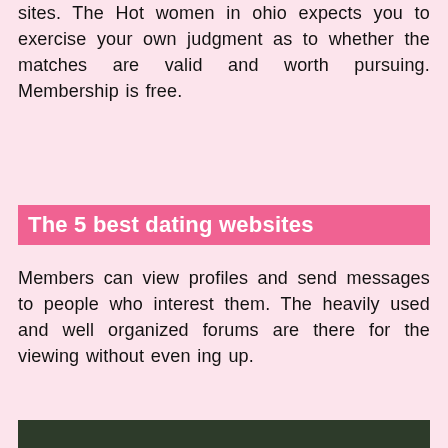sites. The Hot women in ohio expects you to exercise your own judgment as to whether the matches are valid and worth pursuing. Membership is free.
The 5 best dating websites
Members can view profiles and send messages to people who interest them. The heavily used and well organized forums are there for the viewing without even ing up.
[Figure (screenshot): Screenshot of a dating website page showing mirrored/reversed text '9 Best Free Online Dating Sites' with a gold seal badge, and a 'Register NOW' button overlay at the bottom, dark green background.]